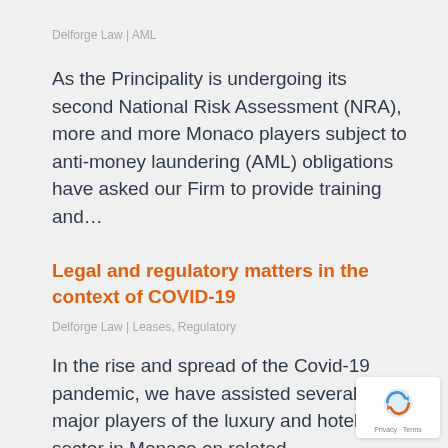Delforge Law | AML
As the Principality is undergoing its second National Risk Assessment (NRA), more and more Monaco players subject to anti-money laundering (AML) obligations have asked our Firm to provide training and...
Legal and regulatory matters in the context of COVID-19
Delforge Law | Leases, Regulatory
In the rise and spread of the Covid-19 pandemic, we have assisted several major players of the luxury and hotel sector in Monaco on related legal/regulatory matters, e.g. sanitary